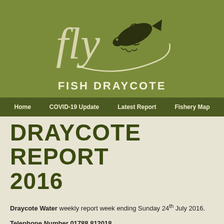[Figure (logo): Fish Draycote fly fishing logo with cursive 'fly' text, a jumping fish illustration, and 'FISH DRAYCOTE' in bold uppercase letters, on an olive green background]
Home   COVID-19 Update   Latest Report   Fishery Map
DRAYCOTE REPORT 2016
Draycote Water weekly report week ending Sunday 24th July 2016.
Telephone Number 01788 812018